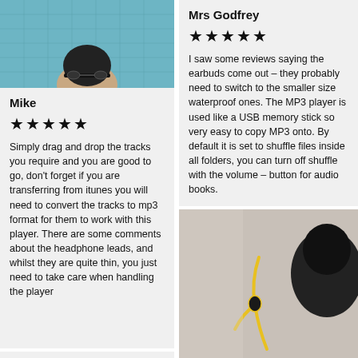[Figure (photo): Photo of swimmer from behind wearing swim cap and goggles at a pool]
Mike
★★★★★
Simply drag and drop the tracks you require and you are good to go, don't forget if you are transferring from itunes you will need to convert the tracks to mp3 format for them to work with this player. There are some comments about the headphone leads, and whilst they are quite thin, you just need to take care when handling the player
Mrs Godfrey
★★★★★
I saw some reviews saying the earbuds come out – they probably need to switch to the smaller size waterproof ones. The MP3 player is used like a USB memory stick so very easy to copy MP3 onto. By default it is set to shuffle files inside all folders, you can turn off shuffle with the volume – button for audio books.
[Figure (photo): Photo of waterproof MP3 player with yellow cable/earbuds being worn by a swimmer]